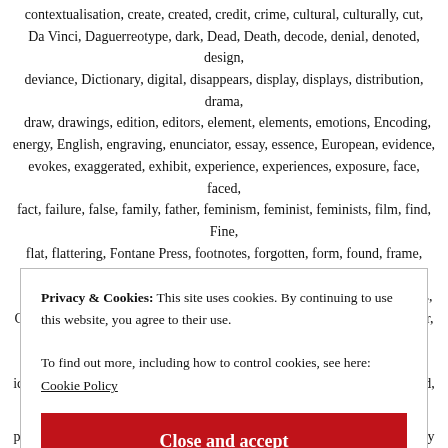contextualisation, create, created, credit, crime, cultural, culturally, cut, Da Vinci, Daguerreotype, dark, Dead, Death, decode, denial, denoted, design, deviance, Dictionary, digital, disappears, display, displays, distribution, drama, draw, drawings, edition, editors, element, elements, emotions, Encoding, energy, English, engraving, enunciator, essay, essence, European, evidence, evokes, exaggerated, exhibit, experience, experiences, exposure, face, faced, fact, failure, false, family, father, feminism, feminist, feminists, film, find, Fine, flat, flattering, Fontane Press, footnotes, forgotten, form, found, frame, friends, front, frontal, frozen, fruit, Gallery, garden, geliefen, Getty, GettyImages, Gheradini, Giocondo, glass, Google, grains, Grandfather, grey, group, hair, Harmenszoon, harvest, Haven, Heritage, herself, history, Hitler, hold, holding, iconic, idea, idealised, ideas, identification, identifies, Identity, illuminated, image, imaged, images, imagination, imaging, impression, indexical,
Privacy & Cookies: This site uses cookies. By continuing to use this website, you agree to their use.
To find out more, including how to control cookies, see here:
Cookie Policy
Close and accept
parsimony, part, parts, patches, pattern, paucity, people, person, personality